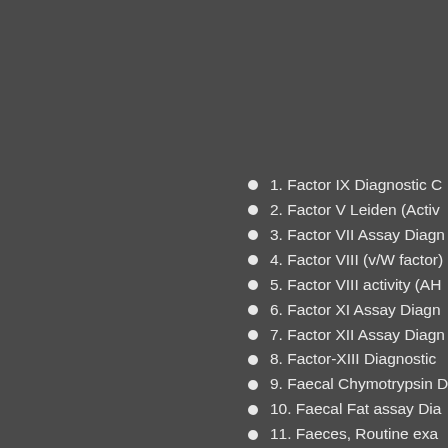1. Factor IX Diagnostic C
2. Factor V Leiden (Activ
3. Factor VII Assay Diagn
4. Factor VIII (v/W factor)
5. Factor VIII activity (AH
6. Factor XI Assay Diagn
7. Factor XII Assay Diagn
8. Factor-XIII Diagnostic
9. Faecal Chymotrypsin D
10. Faecal Fat assay Dia
11. Faeces, Routine exa
12. Fasting Blood Sugar
13. FDP-Fibrinogen Degu
14. Ferritin Diagnostic Ce
15. Fibrinogen Diagnostic